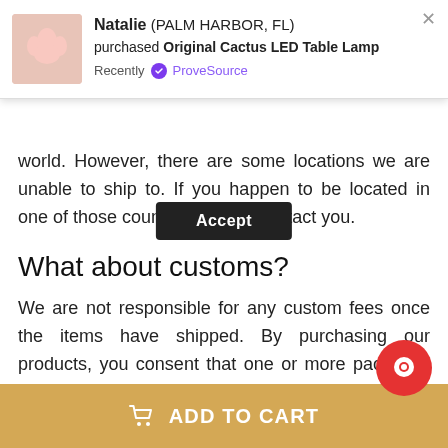[Figure (other): Social proof notification popup: Natalie from Palm Harbor FL purchased Original Cactus LED Table Lamp, Recently via ProveSource. Includes a product thumbnail image and an Accept button.]
world. However, there are some locations we are unable to ship to. If you happen to be located in one of those countries we will contact you.
What about customs?
We are not responsible for any custom fees once the items have shipped. By purchasing our products, you consent that one or more packages may be shipped to you and may get custom fees when they arrive to your country.
How long does shipping take?
Shipping time varies by location. These are our estimates: